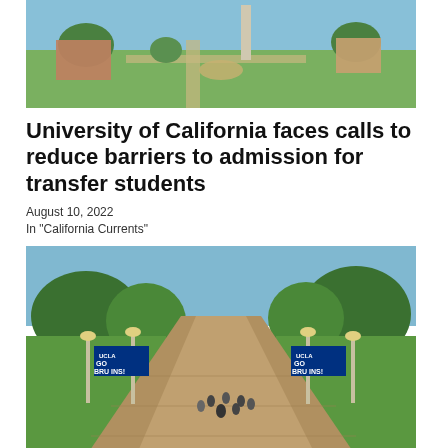[Figure (photo): Aerial view of a University of California campus with green lawns, paths, a circular plaza, and a tall tower/obelisk]
University of California faces calls to reduce barriers to admission for transfer students
August 10, 2022
In "California Currents"
[Figure (photo): Wide pedestrian walkway at UCLA with students walking, flanked by green lawns, lamp posts, and UCLA GO BRUINS banners on either side]